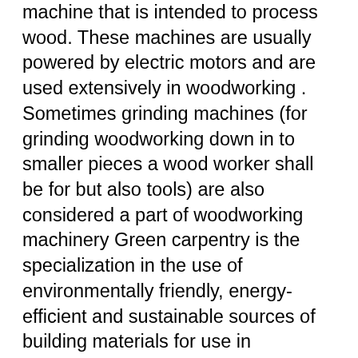machine that is intended to process wood. These machines are usually powered by electric motors and are used extensively in woodworking . Sometimes grinding machines (for grinding woodworking down in to smaller pieces a wood worker shall be for but also tools) are also considered a part of woodworking machinery Green carpentry is the specialization in the use of environmentally friendly, energy-efficient and sustainable sources of building materials for use in construction projects. They also practice building methods that require using less material and material that has the same structural soundness.